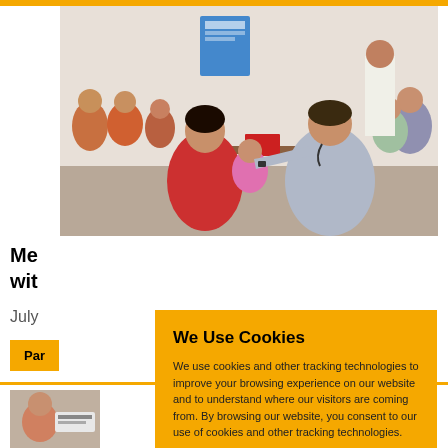[Figure (photo): A doctor examining a young child while the mother looks on in a medical clinic setting in India. Several other patients are waiting in the background.]
Me... wit...
July...
Par...
[Figure (photo): Thumbnail of a medical-related image at the bottom of the page.]
We Use Cookies
We use cookies and other tracking technologies to improve your browsing experience on our website and to understand where our visitors are coming from. By browsing our website, you consent to our use of cookies and other tracking technologies.
ACCEPT
REJECT